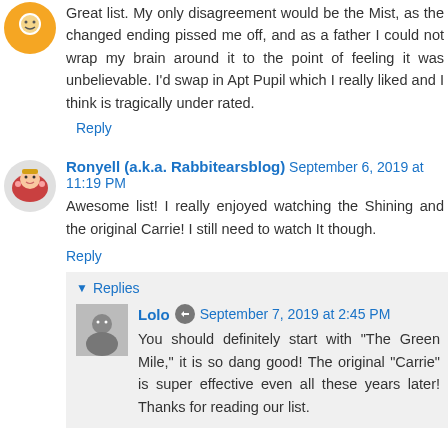Great list. My only disagreement would be the Mist, as the changed ending pissed me off, and as a father I could not wrap my brain around it to the point of feeling it was unbelievable. I'd swap in Apt Pupil which I really liked and I think is tragically under rated.
Reply
Ronyell (a.k.a. Rabbitearsblog) September 6, 2019 at 11:19 PM
Awesome list! I really enjoyed watching the Shining and the original Carrie! I still need to watch It though.
Reply
Replies
Lolo September 7, 2019 at 2:45 PM
You should definitely start with "The Green Mile," it is so dang good! The original "Carrie" is super effective even all these years later! Thanks for reading our list.